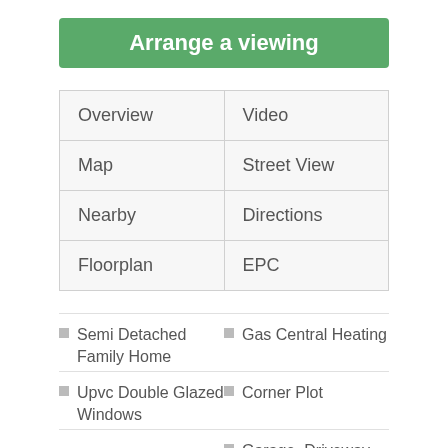Arrange a viewing
| Overview | Video |
| Map | Street View |
| Nearby | Directions |
| Floorplan | EPC |
Semi Detached Family Home
Gas Central Heating
Upvc Double Glazed Windows
Corner Plot
Garage, Driveway